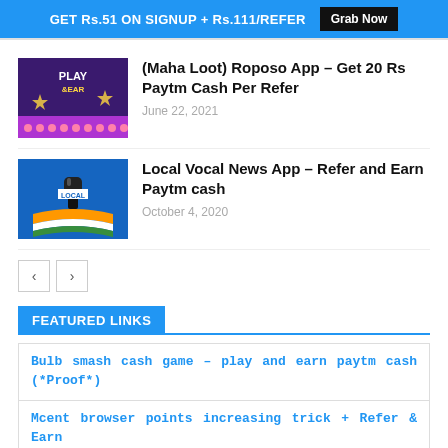GET Rs.51 ON SIGNUP + Rs.111/REFER  Grab Now
(Maha Loot) Roposo App – Get 20 Rs Paytm Cash Per Refer
June 22, 2021
Local Vocal News App – Refer and Earn Paytm cash
October 4, 2020
FEATURED LINKS
Bulb smash cash game – play and earn paytm cash (*Proof*)
Mcent browser points increasing trick + Refer & Earn